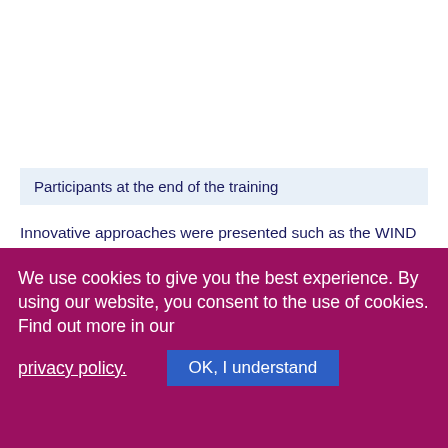Participants at the end of the training
Innovative approaches were presented such as the WIND (Work Improvement in Neighbourhood Development) training programme based on a participatory and action-oriented approach, designed for rapid and sustainable improvements in farmers' safety, health and working conditions by fostering workers' participation, and leaning
We use cookies to give you the best experience. By using our website, you consent to the use of cookies. Find out more in our privacy policy.
OK, I understand